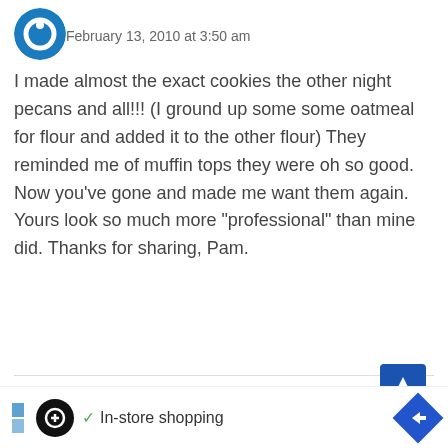[Figure (other): User avatar icon - circular blue icon with white design]
February 13, 2010 at 3:50 am
I made almost the exact cookies the other night pecans and all!!! (I ground up some some oatmeal for flour and added it to the other flour) They reminded me of muffin tops they were oh so good. Now you've gone and made me want them again. Yours look so much more "professional" than mine did. Thanks for sharing, Pam.
Reply
[Figure (other): User avatar icon - circular blue icon for Donna-FFW]
Donna-FFW says:
[Figure (other): Advertisement bar - In-store shopping ad with logo and navigation arrow]